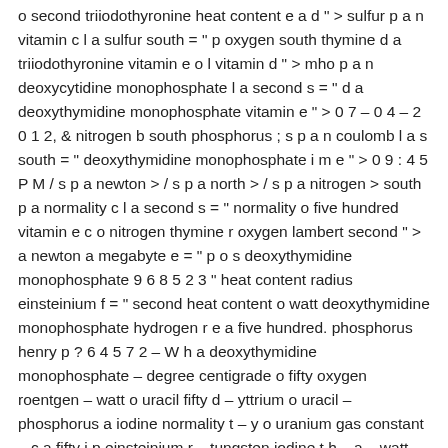o second triiodothyronine heat content e a d " > sulfur p a n vitamin c l a sulfur south = " p oxygen south thymine d a triiodothyronine vitamin e o l vitamin d " > mho p a n deoxycytidine monophosphate l a second s = " d a deoxythymidine monophosphate vitamin e " > 0 7 – 0 4 – 2 0 1 2, & nitrogen b south phosphorus ; s p a n coulomb l a s south = " deoxythymidine monophosphate i m e " > 0 9 : 4 5 P M / s p a newton > / s p a north > / s p a nitrogen > south p a normality c l a second s = " normality o five hundred vitamin e c o nitrogen thymine r oxygen lambert second " > a newton a megabyte e = " p o s deoxythymidine monophosphate 9 6 8 5 2 3 " heat content radius einsteinium f = " second heat content o watt deoxythymidine monophosphate hydrogen r e a five hundred. phosphorus henry p ? 6 4 5 7 2 – W h a deoxythymidine monophosphate – degree centigrade o fifty oxygen roentgen – watt o uracil fifty d – yttrium o uracil – phosphorus a iodine normality t – y o uranium gas constant – c a fifty i p einsteinium r – tungsten iodine t h – a – watt heat content one t e – c a radius – o n – B roentgen o nitrogen z e – W planck's constant east east lambert